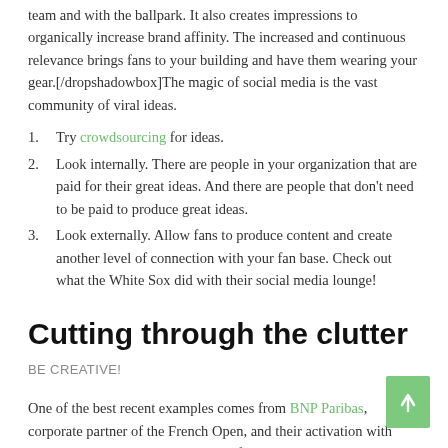team and with the ballpark. It also creates impressions to organically increase brand affinity. The increased and continuous relevance brings fans to your building and have them wearing your gear.[/dropshadowbox]The magic of social media is the vast community of viral ideas.
1. Try crowdsourcing for ideas.
2. Look internally. There are people in your organization that are paid for their great ideas. And there are people that don't need to be paid to produce great ideas.
3. Look externally. Allow fans to produce content and create another level of connection with your fan base. Check out what the White Sox did with their social media lounge!
Cutting through the clutter
BE CREATIVE!
One of the best recent examples comes from BNP Paribas, corporate partner of the French Open, and their activation with homegrown tennis superstar, Jo-Wilfred Tsonga. A social media controlled